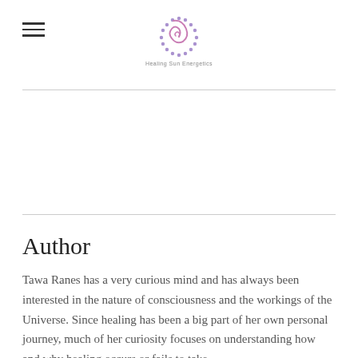Healing Sun Energetics
Author
Tawa Ranes has a very curious mind and has always been interested in the nature of consciousness and the workings of the Universe. Since healing has been a big part of her own personal journey, much of her curiosity focuses on understanding how and why healing occurs or fails to take